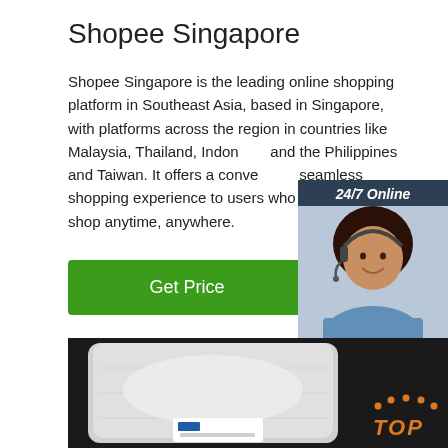Shopee Singapore
Shopee Singapore is the leading online shopping platform in Southeast Asia, based in Singapore, with platforms across the region in countries like Malaysia, Thailand, Indonesia and the Philippines and Taiwan. It offers a convenient, seamless shopping experience to users who are looking to shop anytime, anywhere.
[Figure (infographic): Green 'Get Price' button]
[Figure (photo): Product photo of a white powder in a sealed plastic bag on a dark background, with a label at the bottom. TOP logo in orange on the right side of the image.]
[Figure (infographic): 24/7 Online chat panel with a female customer service agent wearing a headset, text 'Click here for free chat!' and an orange QUOTATION button below.]